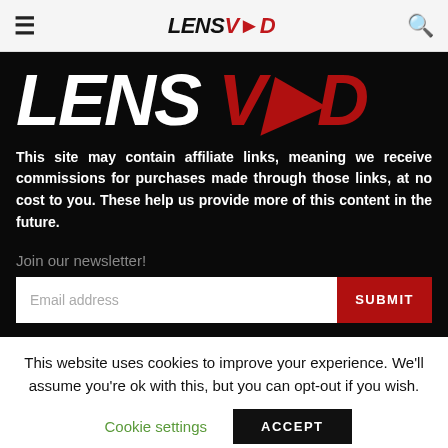LENSVID
[Figure (logo): Large LENSVID logo in white and red italic bold text on black background]
This site may contain affiliate links, meaning we receive commissions for purchases made through those links, at no cost to you. These help us provide more of this content in the future.
Join our newsletter!
Cookie settings  ACCEPT
This website uses cookies to improve your experience. We'll assume you're ok with this, but you can opt-out if you wish.